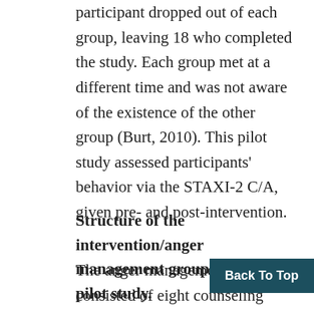participant dropped out of each group, leaving 18 who completed the study. Each group met at a different time and was not aware of the existence of the other group (Burt, 2010). This pilot study assessed participants' behavior via the STAXI-2 C/A, given pre- and post-intervention.
Structure of the intervention/anger management group used in the pilot study.
The anger management group consisted of eight counseling sessions and two assessment sessions (pretest and posttest assessment; Burt, 2010). Program duration was 10 weeks,